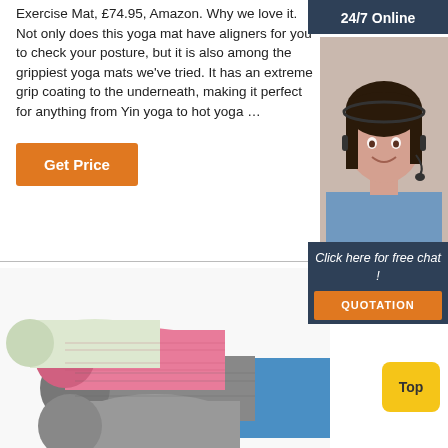Exercise Mat, £74.95, Amazon. Why we love it. Not only does this yoga mat have aligners for you to check your posture, but it is also among the grippiest yoga mats we've tried. It has an extreme grip coating to the underneath, making it perfect for anything from Yin yoga to hot yoga …
Get Price
24/7 Online
[Figure (photo): Female customer service agent with headset, smiling, on a dark blue background]
Click here for free chat !
QUOTATION
[Figure (photo): Multiple rolled yoga mats in pink, grey, blue and light green colors stacked together]
Top